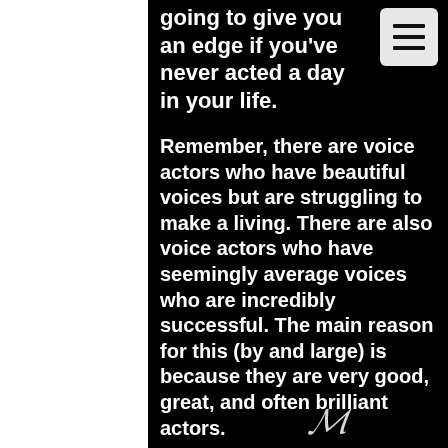going to give you an edge if you've never acted a day in your life.
Remember, there are voice actors who have beautiful voices but are struggling to make a living. There are also voice actors who have seemingly average voices who are incredibly successful. The main reason for this (by and large) is because they are very good, great, and often brilliant actors.
You must also remember this fundamental truth... You can teach technique, but you can't teach talent.